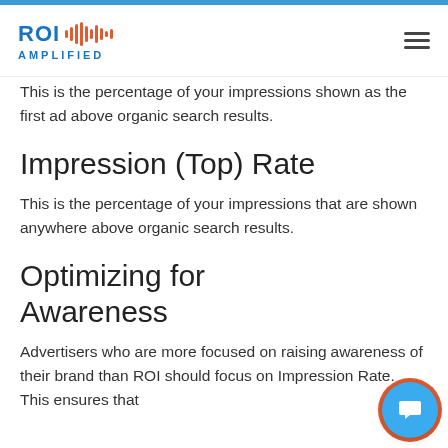ROI AMPLIFIED
This is the percentage of your impressions shown as the first ad above organic search results.
Impression (Top) Rate
This is the percentage of your impressions that are shown anywhere above organic search results.
Optimizing for Awareness
Advertisers who are more focused on raising awareness of their brand than ROI should focus on Impression Rate. This ensures that